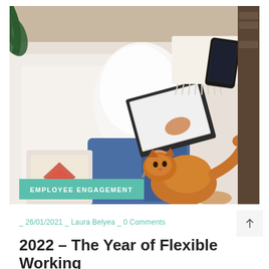[Figure (photo): Overhead view of a woman in a white top and jeans sitting on a white sofa, using a tablet and stylus, with an orange cat beside her and a phone on the sofa nearby.]
EMPLOYEE ENGAGEMENT
_ 26/01/2021 _ Laura Belyea _ 0 Comments
2022 – The Year of Flexible Working